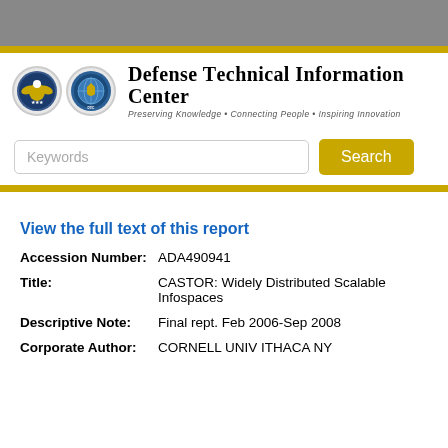[Figure (logo): Defense Technical Information Center header with two seals (DoD eagle seal and DTIC seal), title 'Defense Technical Information Center', subtitle 'Preserving Knowledge • Connecting People • Inspiring Innovation']
Keywords  Search
View the full text of this report
Accession Number:   ADA490941
Title:   CASTOR: Widely Distributed Scalable Infospaces
Descriptive Note:   Final rept. Feb 2006-Sep 2008
Corporate Author:   CORNELL UNIV ITHACA NY